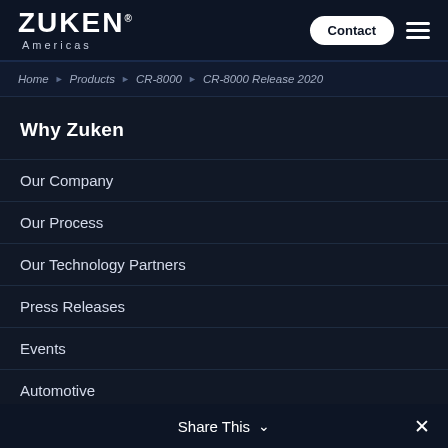ZUKEN® Americas — Contact | Menu
Home ▶ Products ▶ CR-8000 ▶ CR-8000 Release 2020
Why Zuken
Our Company
Our Process
Our Technology Partners
Press Releases
Events
Automotive
Consumer
Share This ∨  ✕